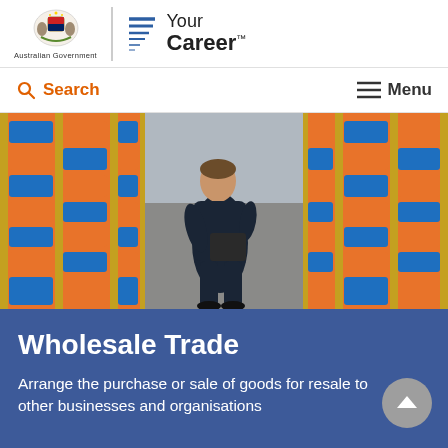Australian Government | Your Career
Search   Menu
[Figure (photo): A person in dark workwear holding a clipboard stands in a warehouse aisle lined with shelves of orange and blue storage bins.]
Wholesale Trade
Arrange the purchase or sale of goods for resale to other businesses and organisations